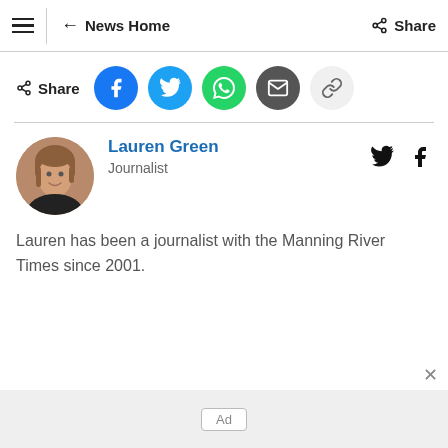≡  ← News Home  Share
Share
Lauren Green
Journalist
Lauren has been a journalist with the Manning River Times since 2001.